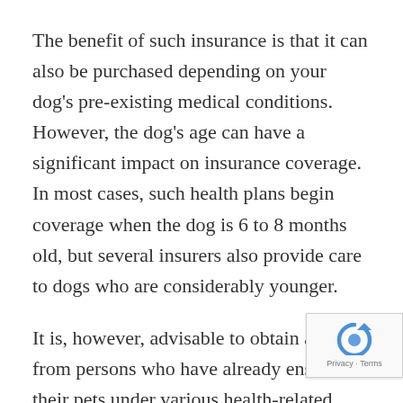The benefit of such insurance is that it can also be purchased depending on your dog's pre-existing medical conditions. However, the dog's age can have a significant impact on insurance coverage. In most cases, such health plans begin coverage when the dog is 6 to 8 months old, but several insurers also provide care to dogs who are considerably younger.
It is, however, advisable to obtain advice from persons who have already ensured their pets under various health-related plans and schemes, or you can contact pet insurance providers for a more comprehensive understanding of coverages. So don't put it off